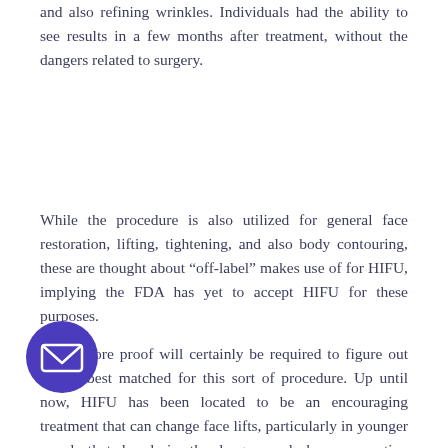and also refining wrinkles. Individuals had the ability to see results in a few months after treatment, without the dangers related to surgery.
While the procedure is also utilized for general face restoration, lifting, tightening, and also body contouring, these are thought about “off-label” makes use of for HIFU, implying the FDA has yet to accept HIFU for these purposes.
Much more proof will certainly be required to figure out that is best matched for this sort of procedure. Up until now, HIFU has been located to be an encouraging treatment that can change face lifts, particularly in younger people that do desire the dangers and also recuperation associated with surgery.
HIFU won’t function too for people with much
[Figure (other): Purple circular email/contact button with envelope icon overlay in bottom-left area]